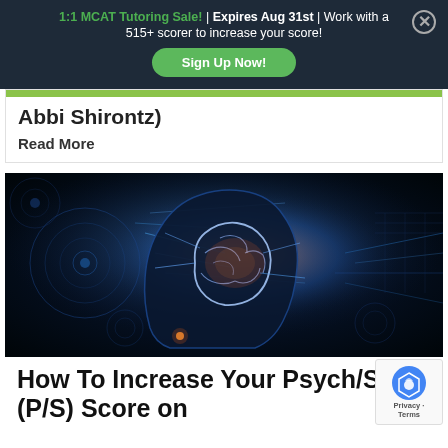1:1 MCAT Tutoring Sale! | Expires Aug 31st | Work with a 515+ scorer to increase your score!
Sign Up Now!
Abbi Shirontz)
Read More
[Figure (photo): Glowing human brain illustration with blue neural connections against dark background, side profile of a human head]
How To Increase Your Psych/Soc (P/S) Score on